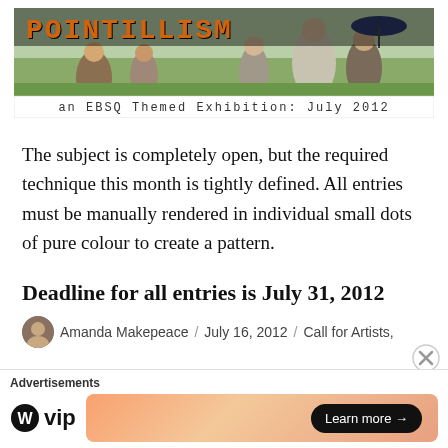[Figure (illustration): Pointillism banner image: orange pixelated text 'POINTILLISM' over a painting showing people with parasols in a park. Below the image text reads 'an EBSQ Themed Exhibition: July 2012' in monospace font on white background.]
The subject is completely open, but the required technique this month is tightly defined. All entries must be manually rendered in individual small dots of pure colour to create a pattern.
Deadline for all entries is July 31, 2012
Amanda Makepeace / July 16, 2012 / Call for Artists,
Advertisements
[Figure (logo): WordPress VIP logo with WordPress W icon and 'vip' text]
[Figure (other): Advertisement banner with gradient orange background and 'Learn more →' button]